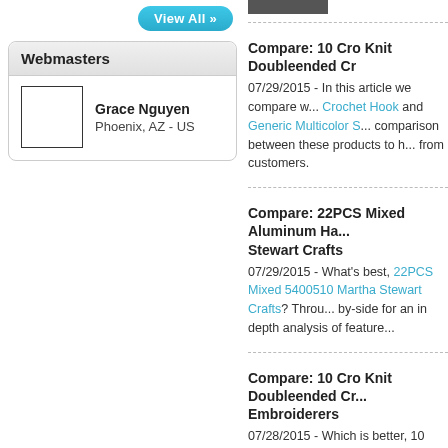View All »
Webmasters
Grace Nguyen
Phoenix, AZ - US
Compare: 10 Cro Knit Doubleended Cr...
07/29/2015 - In this article we compare w... Crochet Hook and Generic Multicolor S... comparison between these products to h... from customers.
Compare: 22PCS Mixed Aluminum Ha... Stewart Crafts
07/29/2015 - What's best, 22PCS Mixed ... 5400510 Martha Stewart Crafts? Throu... by-side for an in depth analysis of feature...
Compare: 10 Cro Knit Doubleended Cr... Embroiderers
07/28/2015 - Which is better, 10 Cro Knit... Sewing Pattern Embroiderers? With thi... side for an in depth analysis of features, p...
Compare: Tabletop Amish Style Wood...
07/28/2015 - What's best, Tabletop Amis... Container? Through this comparison bot... analysis of features, pricing and custome...